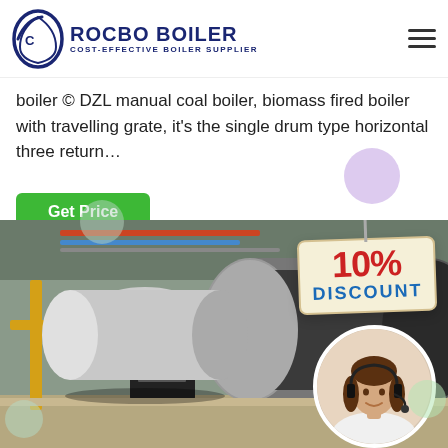[Figure (logo): Rocbo Boiler logo with circular C icon and text 'ROCBO BOILER / COST-EFFECTIVE BOILER SUPPLIER']
boiler © DZL manual coal boiler, biomass fired boiler with travelling grate, it's the single drum type horizontal three return…
Get Price
[Figure (photo): Industrial boiler equipment in a facility. Shows a large horizontal boiler tank with a control panel. Overlaid with a '10% DISCOUNT' badge and a circular photo of a female customer service representative wearing a headset.]